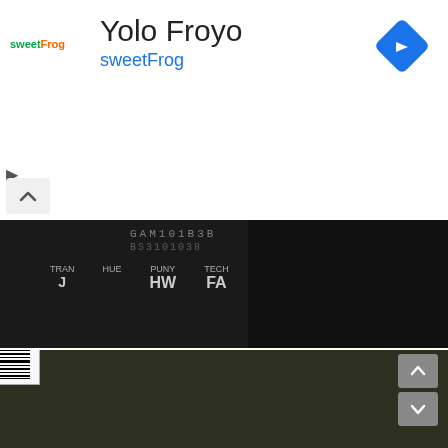[Figure (screenshot): Mobile app advertisement banner for Yolo Froyo / sweetFrog frozen yogurt with logo, title, and navigation diamond icon]
[Figure (photo): Close-up blurry photo of a dark vehicle identification plate showing partial text including TRAN, HW, FA labels]
[Figure (photo): Photo of a vehicle identification label showing: INDIA, 215101029000335, SPEC: 1.2 GLS MT, CMS6K3615, S321 PGU B1, VIN: MALAN51CLAM 765107, D1010A060 A10A, with barcode]